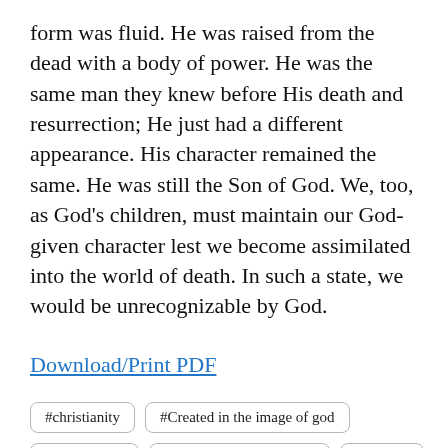form was fluid. He was raised from the dead with a body of power. He was the same man they knew before His death and resurrection; He just had a different appearance. His character remained the same. He was still the Son of God. We, too, as God's children, must maintain our God-given character lest we become assimilated into the world of death. In such a state, we would be unrecognizable by God.
Download/Print PDF
#christianity
#Created in the image of god
#god's image
#having an identity crisis
#identity